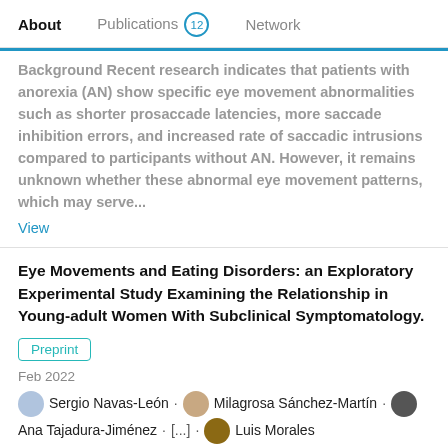About   Publications 12   Network
Background Recent research indicates that patients with anorexia (AN) show specific eye movement abnormalities such as shorter prosaccade latencies, more saccade inhibition errors, and increased rate of saccadic intrusions compared to participants without AN. However, it remains unknown whether these abnormal eye movement patterns, which may serve...
View
Eye Movements and Eating Disorders: an Exploratory Experimental Study Examining the Relationship in Young-adult Women With Subclinical Symptomatology.
Preprint
Feb 2022
Sergio Navas-León · Milagrosa Sánchez-Martín · Ana Tajadura-Jiménez · [...] · Luis Morales
Background: Recent research indicates that patients with anorexia (AN) show specific eye movement abnormalities such as shorter prosaccade latencies, more saccade inhibition errors,